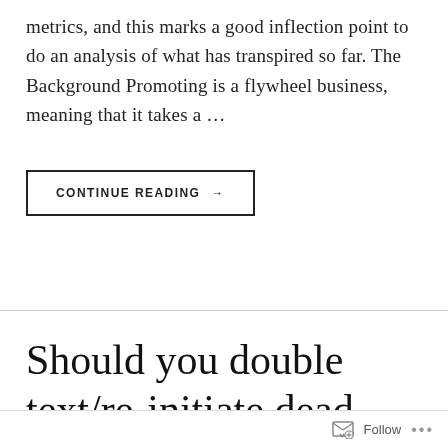metrics, and this marks a good inflection point to do an analysis of what has transpired so far. The Background Promoting is a flywheel business, meaning that it takes a ...
CONTINUE READING →
Should you double text/re-initiate dead daygame
Follow ...